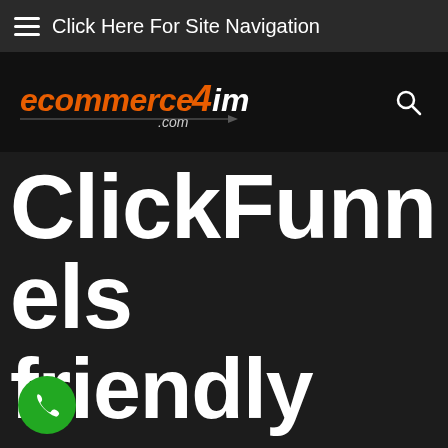Click Here For Site Navigation
[Figure (logo): ecommerce4im.com logo in orange and white italic text with a stylized arrow/underline graphic]
ClickFunnels friendly